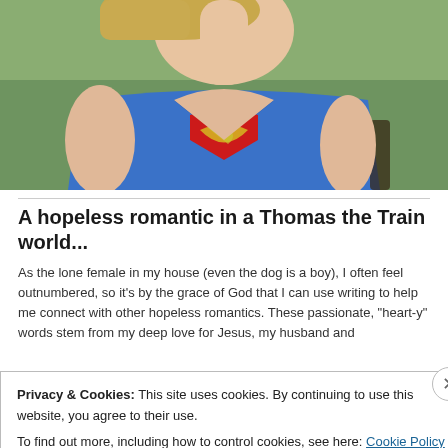[Figure (photo): Person wearing a blue Superman-style t-shirt with red and gold logo, photographed from chin/neck down, outdoors with green grass background]
A hopeless romantic in a Thomas the Train world...
As the lone female in my house (even the dog is a boy), I often feel outnumbered, so it’s by the grace of God that I can use writing to help me connect with other hopeless romantics. These passionate, “heart-y” words stem from my deep love for Jesus, my husband and
Privacy & Cookies: This site uses cookies. By continuing to use this website, you agree to their use.
To find out more, including how to control cookies, see here: Cookie Policy
Close and accept